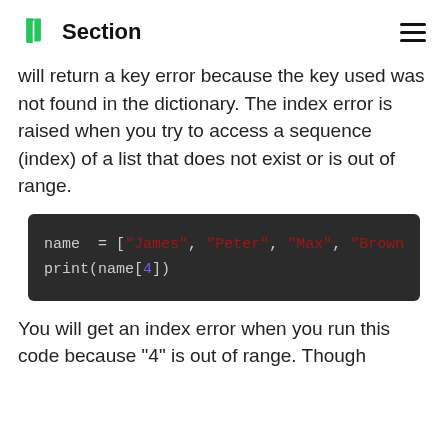Section
will return a key error because the key used was not found in the dictionary. The index error is raised when you try to access a sequence (index) of a list that does not exist or is out of range.
[Figure (screenshot): Code block on dark background showing: name = ["James", "Peter", "Max", "Brown...  and print(name[4])]
You will get an index error when you run this code because "4" is out of range. Though